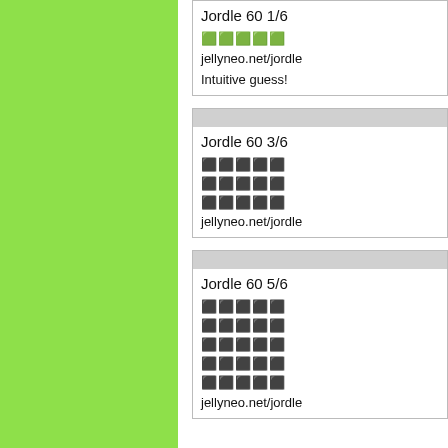[Figure (other): Green rectangle panel on left side of page]
Jordle 60 1/6

🟩🟩🟩🟩🟩
jellyneo.net/jordle

Intuitive guess!
Jordle 60 3/6

⬛⬛⬛⬛⬛
⬛⬛⬛⬛⬛
⬛⬛⬛⬛⬛
jellyneo.net/jordle
Jordle 60 5/6

⬛⬛⬛⬛⬛
⬛⬛⬛⬛⬛
⬛⬛⬛⬛⬛
⬛⬛⬛⬛⬛
⬛⬛⬛⬛⬛
jellyneo.net/jordle